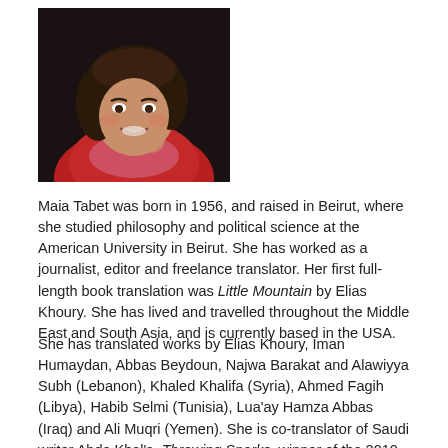[Figure (photo): Portrait photograph of Maia Tabet, a woman with dark hair smiling, wearing a red top, photographed against a dark background.]
Maia Tabet was born in 1956, and raised in Beirut, where she studied philosophy and political science at the American University in Beirut. She has worked as a journalist, editor and freelance translator. Her first full-length book translation was Little Mountain by Elias Khoury. She has lived and travelled throughout the Middle East and South Asia, and is currently based in the USA.
She has translated works by Elias Khoury, Iman Humaydan, Abbas Beydoun, Najwa Barakat and Alawiyya Subh (Lebanon), Khaled Khalifa (Syria), Ahmed Fagih (Libya), Habib Selmi (Tunisia), Lua'ay Hamza Abbas (Iraq) and Ali Muqri (Yemen). She is co-translator of Saudi writer Abdo Khal's Throwing Sparks, winner of the 2010 IPAF. Her work has appeared in Banipal, Fikrun wa Fann, Portal 9 and the Journal of Palestine Studies.
Her translation of White Masks by Elias Khoury was commended